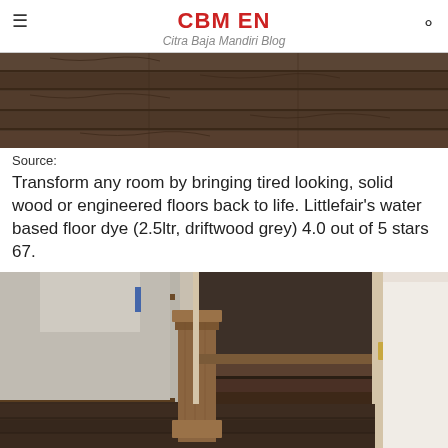CBM EN
Citra Baja Mandiri Blog
[Figure (photo): Close-up photo of dark wood floor planks with visible grain texture]
Source:
Transform any room by bringing tired looking, solid wood or engineered floors back to life. Littlefair's water based floor dye (2.5ltr, driftwood grey) 4.0 out of 5 stars 67.
[Figure (photo): Interior photo showing a wooden staircase newel post with dark stained wood floors, iron railing balusters, and a doorway in the background]